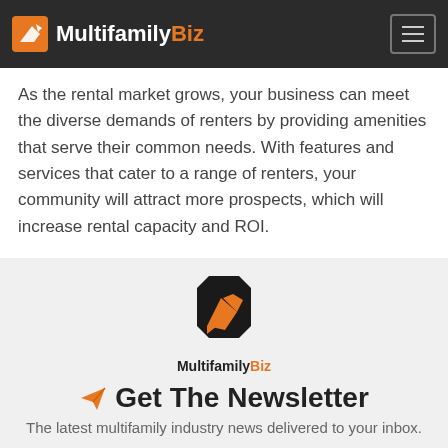MultifamilyBiz
As the rental market grows, your business can meet the diverse demands of renters by providing amenities that serve their common needs. With features and services that cater to a range of renters, your community will attract more prospects, which will increase rental capacity and ROI.
[Figure (logo): MultifamilyBiz logo — large version with pencil/arrow icon on dark square background, with 'MultifamilyBiz' text below]
✈ Get The Newsletter
The latest multifamily industry news delivered to your inbox.